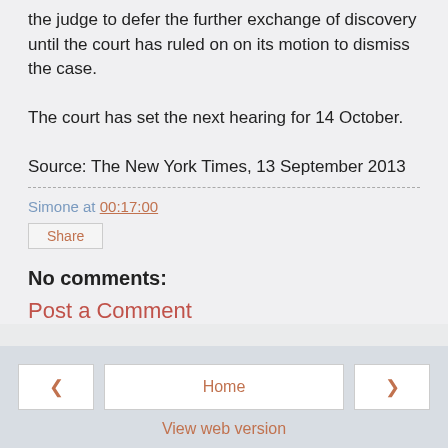the judge to defer the further exchange of discovery until the court has ruled on on its motion to dismiss the case.
The court has set the next hearing for 14 October.
Source: The New York Times, 13 September 2013
Simone at 00:17:00
Share
No comments:
Post a Comment
Home
View web version
Powered by Blogger.